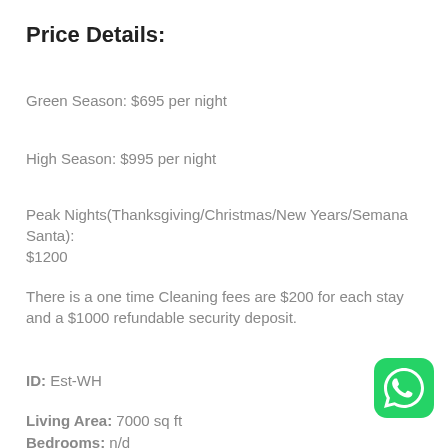Price Details:
Green Season:  $695 per night
High Season:  $995 per night
Peak Nights(Thanksgiving/Christmas/New Years/Semana Santa): $1200
There is a one time Cleaning fees are $200 for each stay and a $1000 refundable security deposit.
ID: Est-WH
Living Area: 7000 sq ft
Bedrooms: n/d
[Figure (logo): WhatsApp green icon with phone symbol]